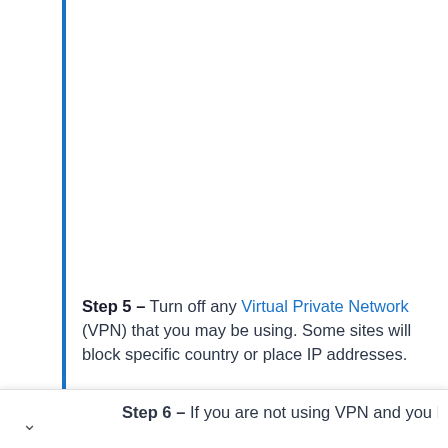Step 5 – Turn off any Virtual Private Network (VPN) that you may be using. Some sites will block specific country or place IP addresses.
Step 6 – If you are not using VPN and you have a